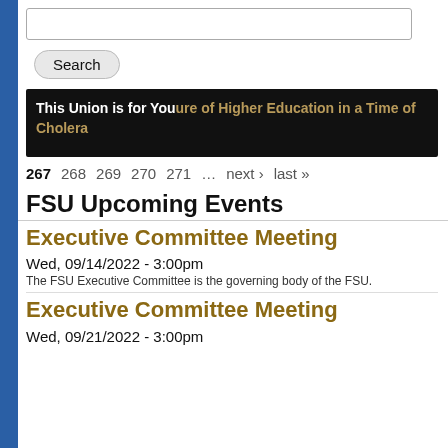[Figure (screenshot): Search input box]
Search
[Figure (screenshot): Banner image with text: This Union is for You / ure of Higher Education in a Time of Cholera]
267  268  269  270  271  ...  next ›  last »
FSU Upcoming Events
Executive Committee Meeting
Wed, 09/14/2022 - 3:00pm
The FSU Executive Committee is the governing body of the FSU.
Executive Committee Meeting
Wed, 09/21/2022 - 3:00pm